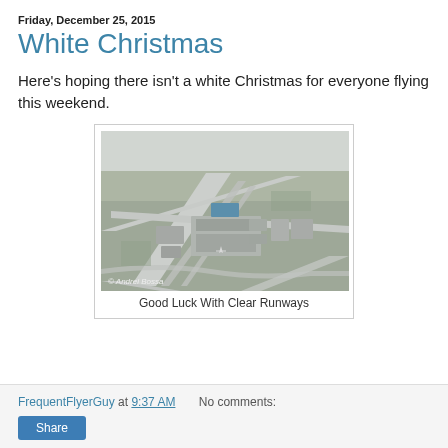Friday, December 25, 2015
White Christmas
Here's hoping there isn't a white Christmas for everyone flying this weekend.
[Figure (photo): Aerial photograph of an airport with runways, taxiways, terminals and surrounding landscape visible from above. Photo credit: © Andrei Bossa]
Good Luck With Clear Runways
FrequentFlyerGuy at 9:37 AM   No comments:   Share